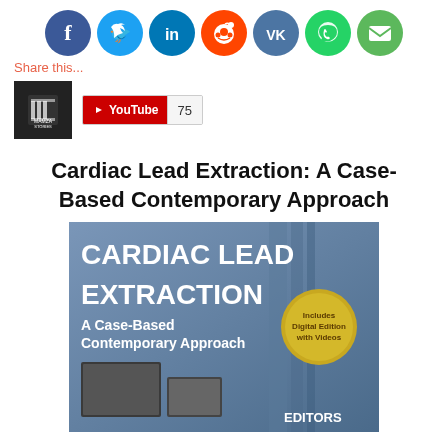[Figure (infographic): Row of social media sharing icons: Facebook (blue), Twitter (light blue), LinkedIn (blue), Reddit (orange-red), VK (blue), WhatsApp (green), Email (green)]
Share this...
[Figure (logo): Mamza Stories logo (dark square with film reel icon) and YouTube subscribe badge showing count 75]
Cardiac Lead Extraction: A Case-Based Contemporary Approach
[Figure (photo): Book cover for 'Cardiac Lead Extraction: A Case-Based Contemporary Approach' showing title text, subtitle, a gold badge reading 'Includes Digital Edition with Videos', and photos of cardiac procedures with 'EDITORS' text at bottom]